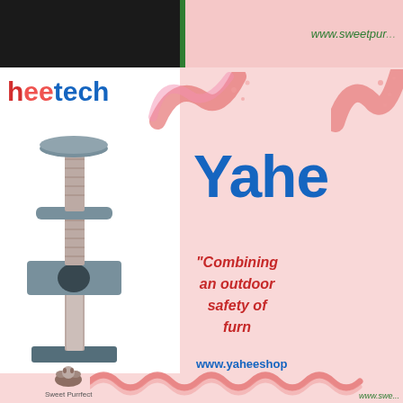[Figure (screenshot): Top navigation bar with dark background on left and pink area with green border showing partial URL www.sweetpur...]
[Figure (photo): Cat tree/climbing tower product image in gray on white background]
heetech
Yahe
"Combining an outdoor safety of furn
www.yaheeshop
www.awe...